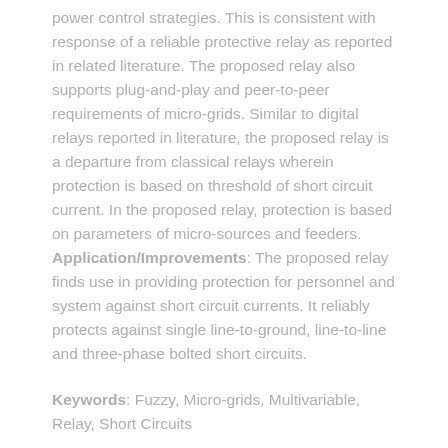power control strategies. This is consistent with response of a reliable protective relay as reported in related literature. The proposed relay also supports plug-and-play and peer-to-peer requirements of micro-grids. Similar to digital relays reported in literature, the proposed relay is a departure from classical relays wherein protection is based on threshold of short circuit current. In the proposed relay, protection is based on parameters of micro-sources and feeders. Application/Improvements: The proposed relay finds use in providing protection for personnel and system against short circuit currents. It reliably protects against single line-to-ground, line-to-line and three-phase bolted short circuits.
Keywords: Fuzzy, Micro-grids, Multivariable, Relay, Short Circuits